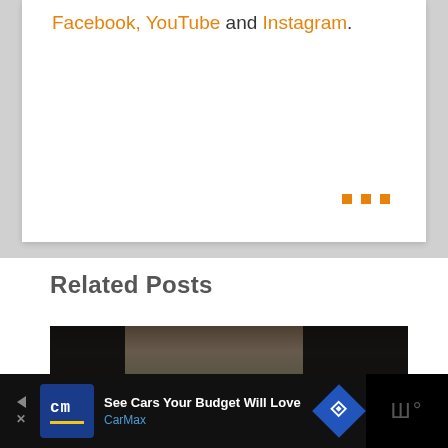Facebook, YouTube and Instagram.
Related Posts
[Figure (photo): Mountain landscape with dark trees in foreground, stormy sky, with overlaid text reading '19 AWESOME Things to Do in Banff, Canada']
See Cars Your Budget Will Love
CarMax